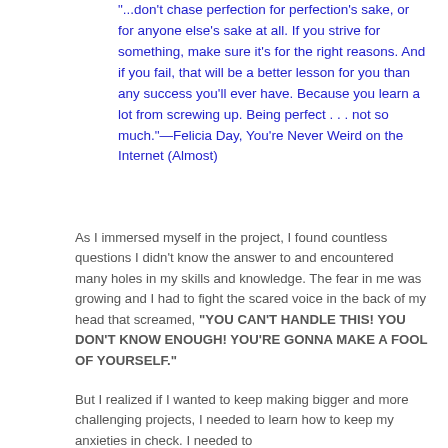"...don't chase perfection for perfection's sake, or for anyone else's sake at all. If you strive for something, make sure it's for the right reasons. And if you fail, that will be a better lesson for you than any success you'll ever have. Because you learn a lot from screwing up. Being perfect . . . not so much."—Felicia Day, You're Never Weird on the Internet (Almost)
As I immersed myself in the project, I found countless questions I didn't know the answer to and encountered many holes in my skills and knowledge. The fear in me was growing and I had to fight the scared voice in the back of my head that screamed, "YOU CAN'T HANDLE THIS! YOU DON'T KNOW ENOUGH! YOU'RE GONNA MAKE A FOOL OF YOURSELF."
But I realized if I wanted to keep making bigger and more challenging projects, I needed to learn how to keep my anxieties in check. I needed to